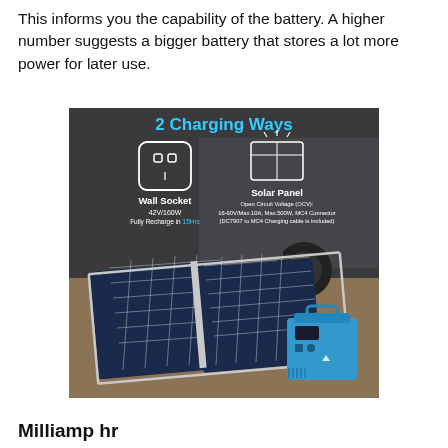This informs you the capability of the battery. A higher number suggests a bigger battery that stores a lot more power for later use.
[Figure (infographic): Product photo showing '2 Charging Ways' — Wall Socket (42V/160W, Fully Recharge in 15Hrs) and Solar Panel (Open Circuit Voltage (OCV): 16-60V/Max.10A, Max.500W, MC4 Connector, DC7907 to MC4 Charging cable is included). Image shows a blue portable power station connected to a solar panel in an outdoor setting next to a caravan.]
Milliamp hr